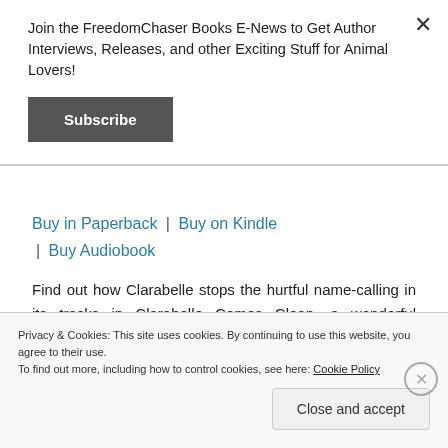Join the FreedomChaser Books E-News to Get Author Interviews, Releases, and other Exciting Stuff for Animal Lovers!
Subscribe
Buy in Paperback | Buy on Kindle | Buy Audiobook
Find out how Clarabelle stops the hurtful name-calling in its tracks in Clarabelle Comes Clean, a wonderful addition to humane education classwork and lessons in
Privacy & Cookies: This site uses cookies. By continuing to use this website, you agree to their use.
To find out more, including how to control cookies, see here: Cookie Policy
Close and accept